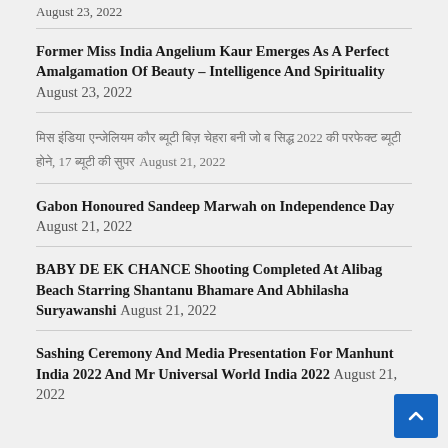August 23, 2022
Former Miss India Angelium Kaur Emerges As A Perfect Amalgamation Of Beauty – Intelligence And Spirituality August 23, 2022
[Hindi text] August 21, 2022
Gabon Honoured Sandeep Marwah on Independence Day August 21, 2022
BABY DE EK CHANCE Shooting Completed At Alibag Beach Starring Shantanu Bhamare And Abhilasha Suryawanshi August 21, 2022
Sashing Ceremony And Media Presentation For Manhunt India 2022 And Mr Universal World India 2022 August 21, 2022